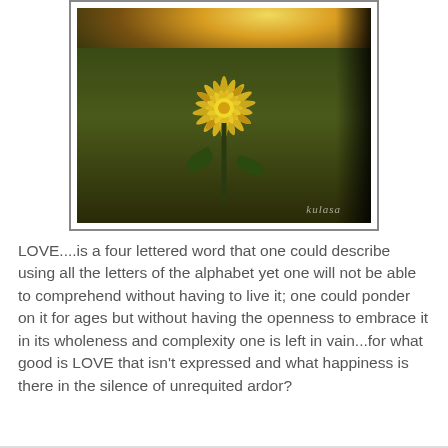[Figure (photo): A yellow flower (dahlia or chrysanthemum-like) with long spiky petals, photographed in a field at sunset/golden hour with sunburst in background. Dark vignette on right. Watermark 'kulasa' in bottom right corner. Photo has a white border with gray/dark frame.]
LOVE....is a four lettered word that one could describe using all the letters of the alphabet yet one will not be able to comprehend without having to live it; one could ponder on it for ages but without having the openness to embrace it in its wholeness and complexity one is left in vain...for what good is LOVE that isn't expressed and what happiness is there in the silence of unrequited ardor?